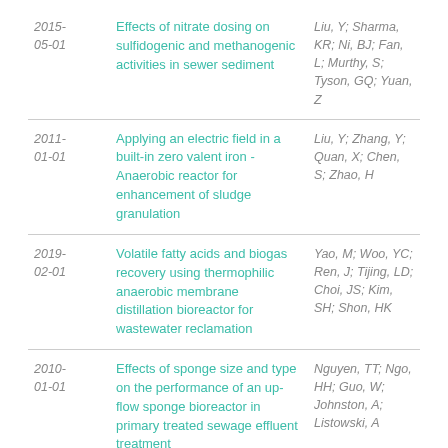| Date | Title | Authors |
| --- | --- | --- |
| 2015-05-01 | Effects of nitrate dosing on sulfidogenic and methanogenic activities in sewer sediment | Liu, Y; Sharma, KR; Ni, BJ; Fan, L; Murthy, S; Tyson, GQ; Yuan, Z |
| 2011-01-01 | Applying an electric field in a built-in zero valent iron - Anaerobic reactor for enhancement of sludge granulation | Liu, Y; Zhang, Y; Quan, X; Chen, S; Zhao, H |
| 2019-02-01 | Volatile fatty acids and biogas recovery using thermophilic anaerobic membrane distillation bioreactor for wastewater reclamation | Yao, M; Woo, YC; Ren, J; Tijing, LD; Choi, JS; Kim, SH; Shon, HK |
| 2010-01-01 | Effects of sponge size and type on the performance of an up-flow sponge bioreactor in primary treated sewage effluent treatment | Nguyen, TT; Ngo, HH; Guo, W; Johnston, A; Listowski, A |